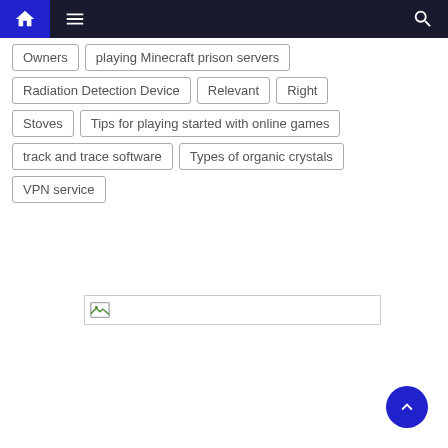Navigation bar with home, menu, and search icons
Owners
playing Minecraft prison servers
Radiation Detection Device
Relevant
Right
Stoves
Tips for playing started with online games
track and trace software
Types of organic crystals
VPN service
[Figure (photo): Broken image placeholder with small image icon]